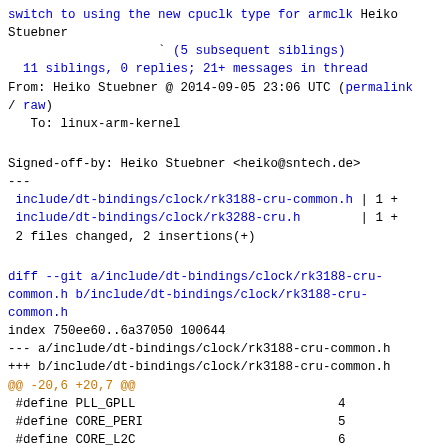switch to using the new cpuclk type for armclk Heiko Stuebner
          ` (5 subsequent siblings)
  11 siblings, 0 replies; 21+ messages in thread
From: Heiko Stuebner @ 2014-09-05 23:06 UTC (permalink / raw)
   To: linux-arm-kernel
Signed-off-by: Heiko Stuebner <heiko@sntech.de>
---
 include/dt-bindings/clock/rk3188-cru-common.h | 1 +
 include/dt-bindings/clock/rk3288-cru.h        | 1 +
 2 files changed, 2 insertions(+)
diff --git a/include/dt-bindings/clock/rk3188-cru-common.h b/include/dt-bindings/clock/rk3188-cru-common.h
index 750ee60..6a37050 100644
--- a/include/dt-bindings/clock/rk3188-cru-common.h
+++ b/include/dt-bindings/clock/rk3188-cru-common.h
@@ -20,6 +20,7 @@
 #define PLL_GPLL                           4
 #define CORE_PERI                          5
 #define CORE_L2C                           6
+#define ARMCLK                             7

 /* sclk gates (special clocks) */
 #define SCLK_UART0                         64
diff --git a/include/dt-bindings/clock/rk3288-cru.h b/include/dt-bindings/clock/rk3288-cru.h